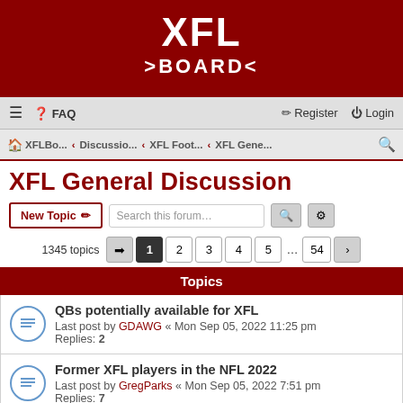[Figure (logo): XFL Board logo — white stylized text 'XFL' above '>BOARD<' on dark red background]
☰  ❓ FAQ    ✏ Register  ⏻ Login
🏠 XFLBo...  ‹ Discussio...  ‹ XFL Foot...  ‹ XFL Gene...  🔍
XFL General Discussion
New Topic ✏  [Search this forum…] 🔍 ⚙
1345 topics  ➡ 1 2 3 4 5 ... 54 >
Topics
QBs potentially available for XFL
Last post by GDAWG « Mon Sep 05, 2022 11:25 pm
Replies: 2
Former XFL players in the NFL 2022
Last post by GregParks « Mon Sep 05, 2022 7:51 pm
Replies: 7